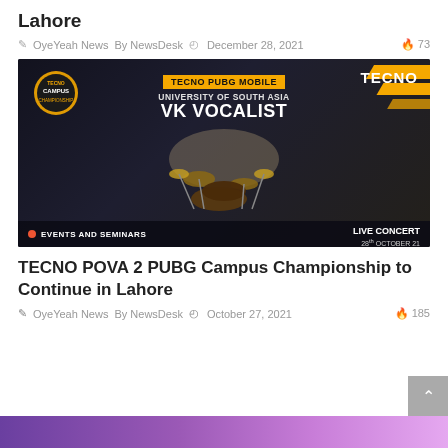Lahore
OyeYeah News  By NewsDesk  December 28, 2021  73
[Figure (photo): TECNO PUBG Mobile University of South Asia VK Vocalist event banner showing drum kit, TECNO logo, CAMPUS badge, Events and Seminars label, Live Concert text, and date 28th October 21]
TECNO POVA 2 PUBG Campus Championship to Continue in Lahore
OyeYeah News  By NewsDesk  October 27, 2021  185